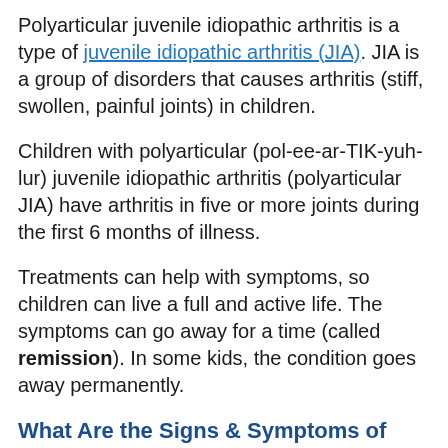Polyarticular juvenile idiopathic arthritis is a type of juvenile idiopathic arthritis (JIA). JIA is a group of disorders that causes arthritis (stiff, swollen, painful joints) in children.
Children with polyarticular (pol-ee-ar-TIK-yuh-lur) juvenile idiopathic arthritis (polyarticular JIA) have arthritis in five or more joints during the first 6 months of illness.
Treatments can help with symptoms, so children can live a full and active life. The symptoms can go away for a time (called remission). In some kids, the condition goes away permanently.
What Are the Signs & Symptoms of Polyarticular Juvenile Idiopathic Arthritis?
Children with polyarticular arthritis may start out with